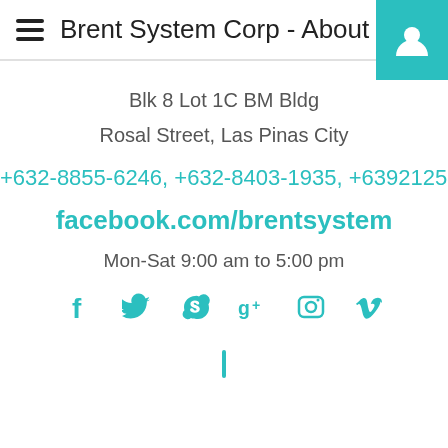Brent System Corp - About
Blk 8 Lot 1C BM Bldg
Rosal Street, Las Pinas City
+632-8855-6246, +632-8403-1935, +639212586600
facebook.com/brentsystem
Mon-Sat 9:00 am to 5:00 pm
[Figure (infographic): Social media icons: Facebook, Twitter, Skype, Google+, Instagram, Vimeo displayed in teal color]